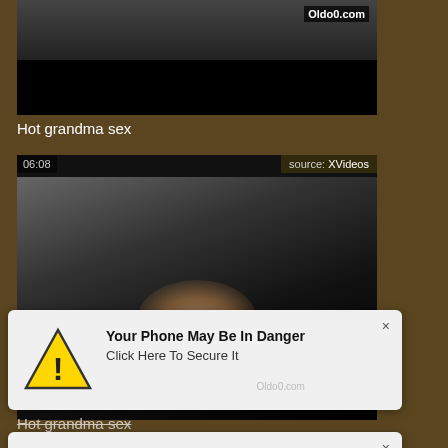[Figure (screenshot): Video thumbnail showing dark content with Oldo0.com watermark and black overlay bar at bottom]
Hot grandma sex
[Figure (screenshot): Video thumbnail with 06:08 time badge and source: XVideos badge, showing dark video content]
[Figure (infographic): Warning popup overlay: yellow triangle warning icon, bold text 'Your Phone May Be In Danger', subtext 'Click Here To Secure It', Oldo0.com watermark, x close button]
Hot grandma sex
[Figure (infographic): Second warning popup overlay: yellow triangle warning icon, bold text 'Your Phone May Be In Danger', subtext 'Click Here To Secure It', x close button]